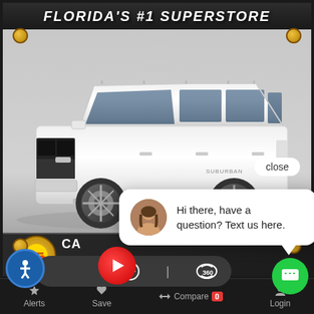FLORIDA'S #1 SUPERSTORE
[Figure (photo): White Chevrolet Suburban SUV photographed in a dealership setting against a light gray background]
close
Hi there, have a question? Text us here.
Alerts  Save  Compare 0  Login